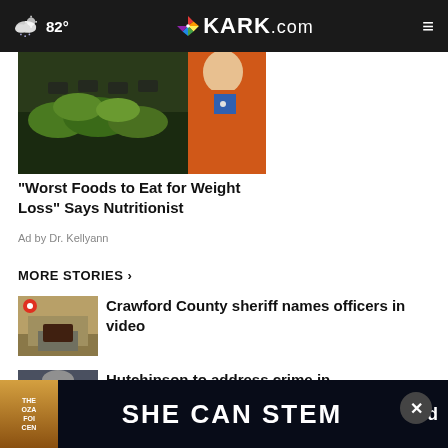82° | KARK.com
[Figure (photo): Grocery store produce section with green vegetables; person in orange jacket visible on right side]
"Worst Foods to Eat for Weight Loss" Says Nutritionist
Ad by Dr. Kellyann
MORE STORIES ›
[Figure (screenshot): Thumbnail showing a road scene with a red live indicator dot overlay]
Crawford County sheriff names officers in video
[Figure (photo): Thumbnail showing a man in a dark suit, gray-haired]
Hutchinson to address crime in Arkansas
[Figure (photo): Bottom advertisement banner: Ozark logo and SHE CAN STEM text on dark background]